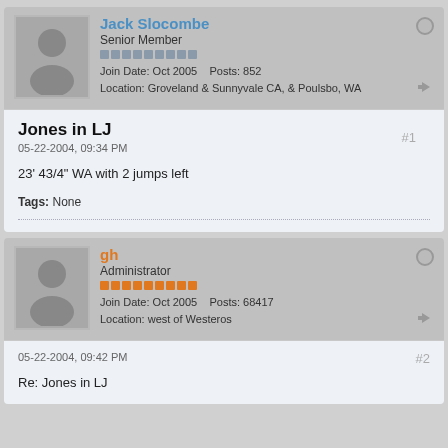Jack Slocombe
Senior Member
Join Date: Oct 2005  Posts: 852
Location: Groveland & Sunnyvale CA, & Poulsbo, WA
Jones in LJ
05-22-2004, 09:34 PM
23' 43/4" WA with 2 jumps left
Tags: None
gh
Administrator
Join Date: Oct 2005  Posts: 68417
Location: west of Westeros
05-22-2004, 09:42 PM
Re: Jones in LJ